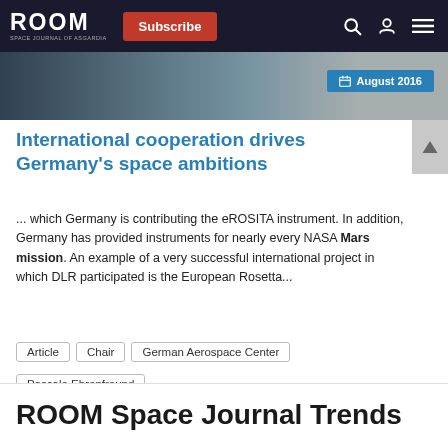ROOM | Subscribe
[Figure (photo): Hero image strip showing space/astronaut scene with August 2016 date badge]
International cooperation drives Germany's space ambitions
... which Germany is contributing the eROSITA instrument. In addition, Germany has provided instruments for nearly every NASA Mars mission. An example of a very successful international project in which DLR participated is the European Rosetta...
Article
Chair
German Aerospace Center
Pascale Ehrenfreund
Authors: Pascale Ehrenfreund
ROOM Space Journal Trends